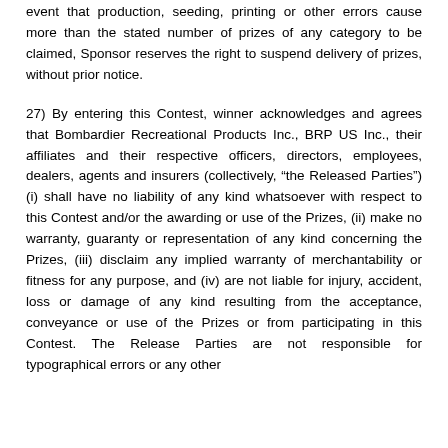event that production, seeding, printing or other errors cause more than the stated number of prizes of any category to be claimed, Sponsor reserves the right to suspend delivery of prizes, without prior notice.
27) By entering this Contest, winner acknowledges and agrees that Bombardier Recreational Products Inc., BRP US Inc., their affiliates and their respective officers, directors, employees, dealers, agents and insurers (collectively, “the Released Parties”) (i) shall have no liability of any kind whatsoever with respect to this Contest and/or the awarding or use of the Prizes, (ii) make no warranty, guaranty or representation of any kind concerning the Prizes, (iii) disclaim any implied warranty of merchantability or fitness for any purpose, and (iv) are not liable for injury, accident, loss or damage of any kind resulting from the acceptance, conveyance or use of the Prizes or from participating in this Contest. The Release Parties are not responsible for typographical errors or any other